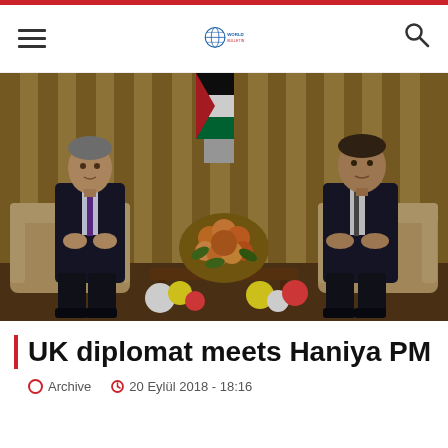World Bulletin
[Figure (photo): Two men in dark suits seated in armchairs facing each other in an official meeting room. A floral arrangement is in the center and a Palestinian flag is visible in the background. Curtains are golden/beige.]
UK diplomat meets Haniya PM
Archive  |  20 Eylül 2018 - 18:16